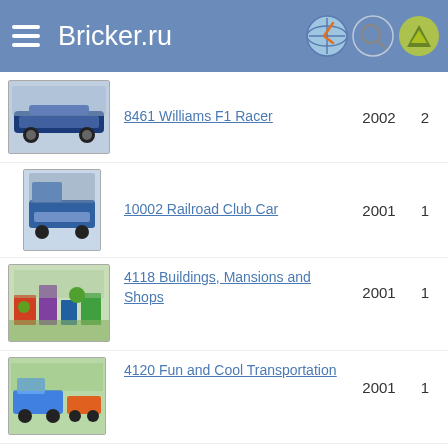Bricker.ru
8461 Williams F1 Racer | 2002 | 2
10002 Railroad Club Car | 2001 | 1
4118 Buildings, Mansions and Shops | 2001 | 1
4120 Fun and Cool Transportation | 2001 | 1
4175 Adventures with Max & Tina(Макс и Тина отправляются на поиски приключений) | 2001 | 2
4810 Blue Creator Bucket | 2001 | 1